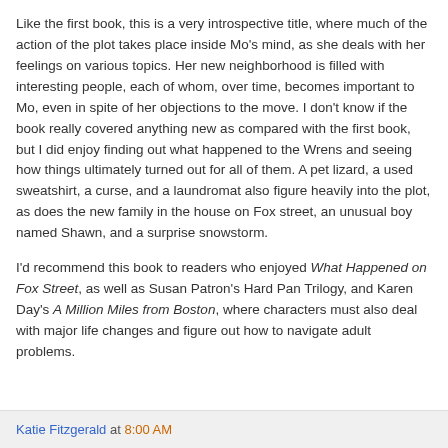Like the first book, this is a very introspective title, where much of the action of the plot takes place inside Mo's mind, as she deals with her feelings on various topics. Her new neighborhood is filled with interesting people, each of whom, over time, becomes important to Mo, even in spite of her objections to the move. I don't know if the book really covered anything new as compared with the first book, but I did enjoy finding out what happened to the Wrens and seeing how things ultimately turned out for all of them. A pet lizard, a used sweatshirt, a curse, and a laundromat also figure heavily into the plot, as does the new family in the house on Fox street, an unusual boy named Shawn, and a surprise snowstorm.
I'd recommend this book to readers who enjoyed What Happened on Fox Street, as well as Susan Patron's Hard Pan Trilogy, and Karen Day's A Million Miles from Boston, where characters must also deal with major life changes and figure out how to navigate adult problems.
Katie Fitzgerald at 8:00 AM